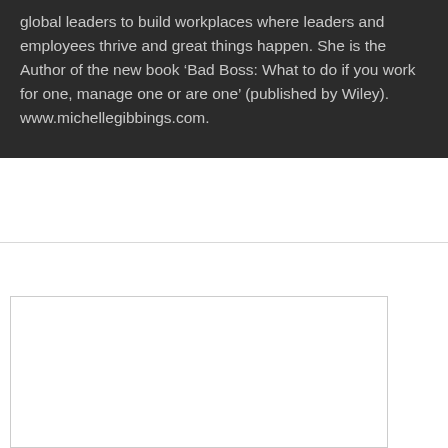global leaders to build workplaces where leaders and employees thrive and great things happen. She is the Author of the new book ‘Bad Boss: What to do if you work for one, manage one or are one’ (published by Wiley). www.michellegibbings.com.
[Figure (other): White rectangular box with border, partially visible at bottom of page]